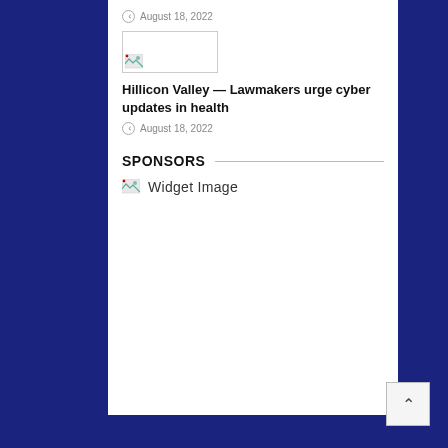August 18, 2022
[Figure (other): Broken/placeholder image thumbnail]
Hillicon Valley — Lawmakers urge cyber updates in health
August 18, 2022
SPONSORS
[Figure (other): Widget Image placeholder]